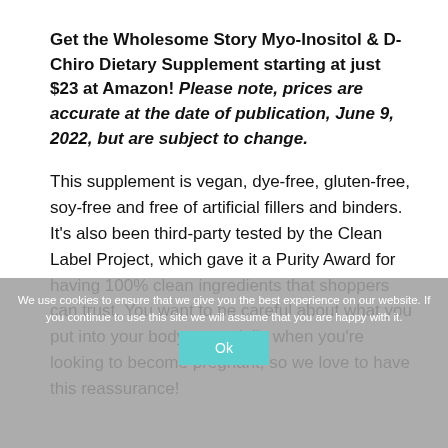Get the Wholesome Story Myo-Inositol & D-Chiro Dietary Supplement starting at just $23 at Amazon! Please note, prices are accurate at the date of publication, June 9, 2022, but are subject to change.
This supplement is vegan, dye-free, gluten-free, soy-free and free of artificial fillers and binders. It's also been third-party tested by the Clean Label Project, which gave it a Purity Award for having 100% clean ingredients that shoppers can trust. You want to be careful about what you put into your body, especially when you're looking to become pregnant, so we love to have this reassurance!
We use cookies to ensure that we give you the best experience on our website. If you continue to use this site we will assume that you are happy with it.